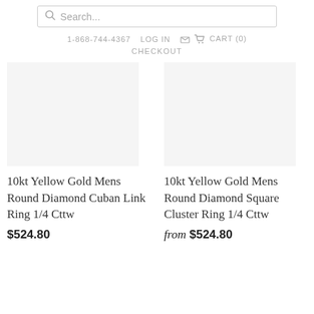Search...  1-868-744-4367  LOG IN  CART (0)  CHECKOUT
10kt Yellow Gold Mens Round Diamond Cuban Link Ring 1/4 Cttw
$524.80
10kt Yellow Gold Mens Round Diamond Square Cluster Ring 1/4 Cttw
from $524.80